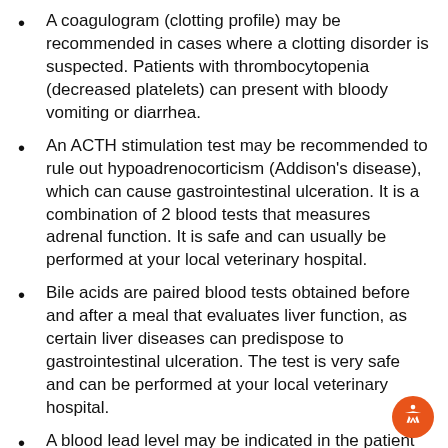A coagulogram (clotting profile) may be recommended in cases where a clotting disorder is suspected. Patients with thrombocytopenia (decreased platelets) can present with bloody vomiting or diarrhea.
An ACTH stimulation test may be recommended to rule out hypoadrenocorticism (Addison's disease), which can cause gastrointestinal ulceration. It is a combination of 2 blood tests that measures adrenal function. It is safe and can usually be performed at your local veterinary hospital.
Bile acids are paired blood tests obtained before and after a meal that evaluates liver function, as certain liver diseases can predispose to gastrointestinal ulceration. The test is very safe and can be performed at your local veterinary hospital.
A blood lead level may be indicated in the patient with ulceration, where there has been known or possible lead exposure.